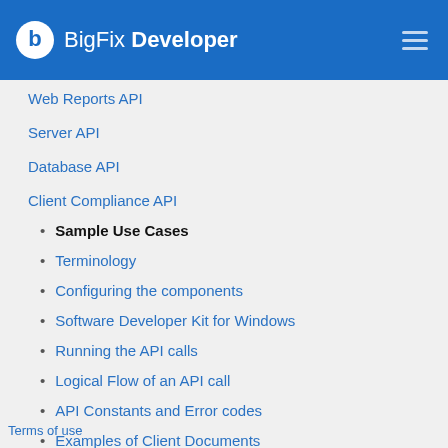BigFix Developer
Web Reports API
Server API
Database API
Client Compliance API
Sample Use Cases
Terminology
Configuring the components
Software Developer Kit for Windows
Running the API calls
Logical Flow of an API call
API Constants and Error codes
Examples of Client Documents
Terms of use